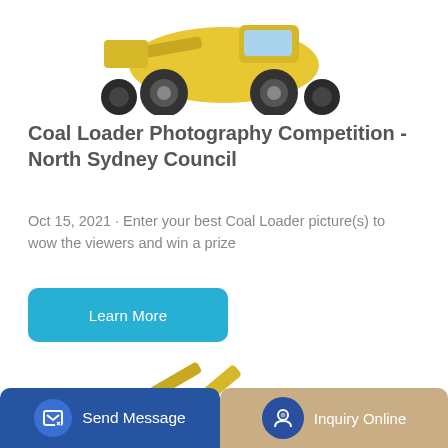[Figure (photo): Yellow construction wheel loader / dump truck photographed from the front-bottom angle on a white background, partially cut off at top]
Coal Loader Photography Competition - North Sydney Council
Oct 15, 2021 · Enter your best Coal Loader picture(s) to wow the viewers and win a prize
[Figure (other): Blue rounded button labeled 'Learn More']
[Figure (photo): Yellow LOVOL brand excavator/digger on white background, showing boom arm and cab, partially cut at bottom]
[Figure (other): Bottom navigation bar with two buttons: 'Send Message' (blue, with document/edit icon) on the left and 'Inquiry Online' (tan/beige, with headset icon) on the right]